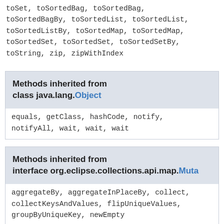toSet, toSortedBag, toSortedBag, toSortedBagBy, toSortedList, toSortedList, toSortedListBy, toSortedMap, toSortedMap, toSortedSet, toSortedSet, toSortedSetBy, toString, zip, zipWithIndex
Methods inherited from class java.lang.Object
equals, getClass, hashCode, notify, notifyAll, wait, wait, wait
Methods inherited from interface org.eclipse.collections.api.map.Muta
aggregateBy, aggregateInPlaceBy, collect, collectKeysAndValues, flipUniqueValues, groupByUniqueKey, newEmpty
Methods inherited from interface org.eclipse.collections.api.map.Muta